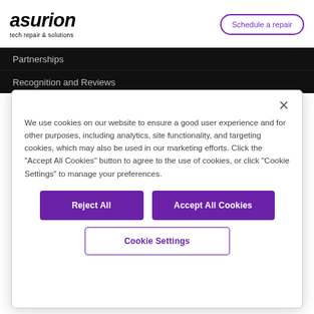[Figure (logo): Asurion logo — bold italic wordmark 'asurion' with subtitle 'tech repair & solutions']
Schedule a repair
Partnerships
Recognition and Reviews
We use cookies on our website to ensure a good user experience and for other purposes, including analytics, site functionality, and targeting cookies, which may also be used in our marketing efforts. Click the "Accept All Cookies" button to agree to the use of cookies, or click "Cookie Settings" to manage your preferences.
Reject All
Accept All Cookies
Cookie Settings